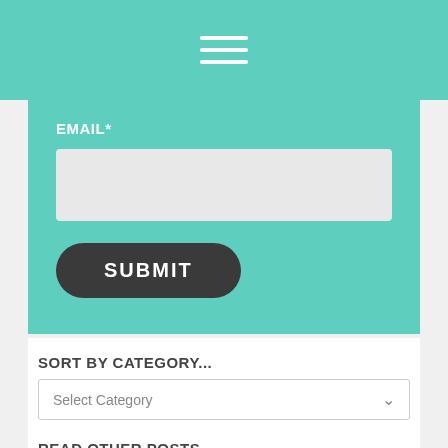[Figure (screenshot): Hamburger menu icon (three horizontal white lines) on teal background navigation bar]
EMAIL*
[Figure (screenshot): Email input text field with light gray background]
SUBMIT
SORT BY CATEGORY...
Select Category
READ OTHER POSTS...
LITTLE BLACK BOOK – Guest Blog Q+A with Jane Allsop